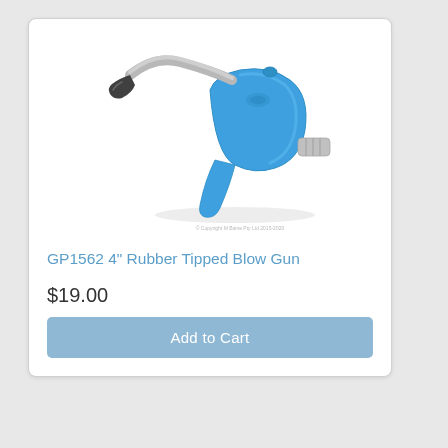[Figure (photo): A blue rubber-tipped blow gun (model GP1562) with a metal nozzle angled to the left and a quick-connect fitting on the right side. The body is bright blue plastic with a trigger handle.]
GP1562 4" Rubber Tipped Blow Gun
$19.00
Add to Cart